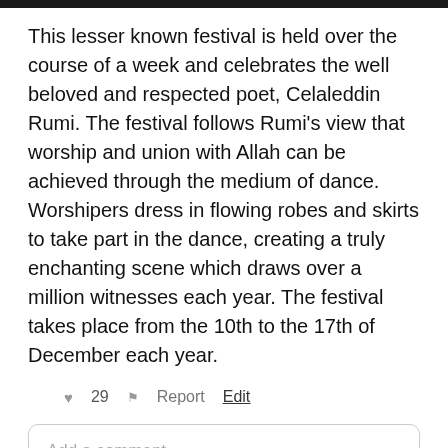[Figure (other): Black top bar/header strip]
This lesser known festival is held over the course of a week and celebrates the well beloved and respected poet, Celaleddin Rumi. The festival follows Rumi's view that worship and union with Allah can be achieved through the medium of dance. Worshipers dress in flowing robes and skirts to take part in the dance, creating a truly enchanting scene which draws over a million witnesses each year. The festival takes place from the 10th to the 17th of December each year.
♥ 29   ⚑ Report   Edit
Add a comment ...